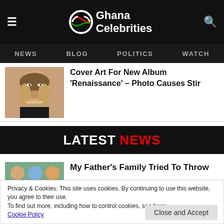Ghana Celebrities — NEWS  BLOG  POLITICS  WATCH
Cover Art For New Album 'Renaissance' – Photo Causes Stir
LATEST NEWS
My Father's Family Tried To Throw
Privacy & Cookies: This site uses cookies. By continuing to use this website, you agree to their use.
To find out more, including how to control cookies, see here:
Cookie Policy
Close and Accept
Caught Whinning Waist In